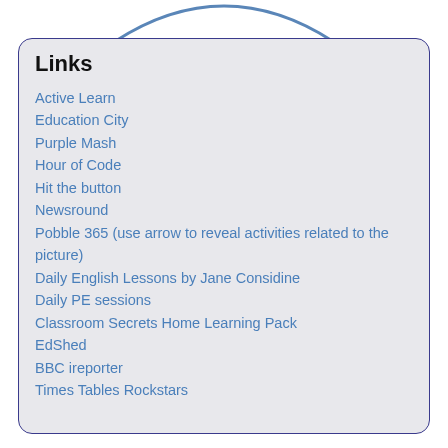[Figure (illustration): Partial arc/circle graphic at top, blue outline of a circular shape cropped at the top of the page]
Links
Active Learn
Education City
Purple Mash
Hour of Code
Hit the button
Newsround
Pobble 365 (use arrow to reveal activities related to the picture)
Daily English Lessons by Jane Considine
Daily PE sessions
Classroom Secrets Home Learning Pack
EdShed
BBC ireporter
Times Tables Rockstars